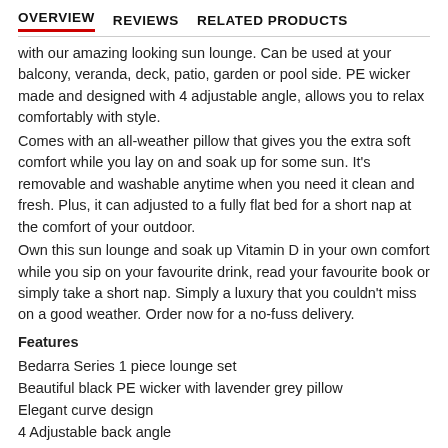OVERVIEW   REVIEWS   RELATED PRODUCTS
with our amazing looking sun lounge. Can be used at your balcony, veranda, deck, patio, garden or pool side. PE wicker made and designed with 4 adjustable angle, allows you to relax comfortably with style.
Comes with an all-weather pillow that gives you the extra soft comfort while you lay on and soak up for some sun. It's removable and washable anytime when you need it clean and fresh. Plus, it can adjusted to a fully flat bed for a short nap at the comfort of your outdoor.
Own this sun lounge and soak up Vitamin D in your own comfort while you sip on your favourite drink, read your favourite book or simply take a short nap. Simply a luxury that you couldn't miss on a good weather. Order now for a no-fuss delivery.
Features
Bedarra Series 1 piece lounge set
Beautiful black PE wicker with lavender grey pillow
Elegant curve design
4 Adjustable back angle
Heavy duty and anti-rust aluminium frame
UV resistant PE wicker
All-weather head pillow for added comfort